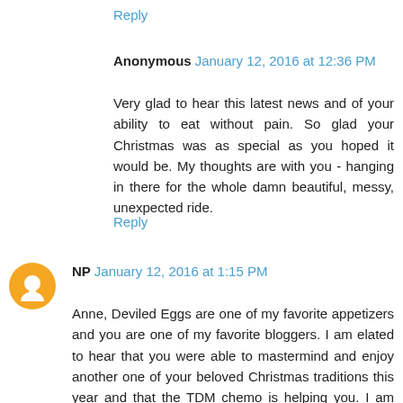Reply
Anonymous  January 12, 2016 at 12:36 PM
Very glad to hear this latest news and of your ability to eat without pain. So glad your Christmas was as special as you hoped it would be. My thoughts are with you - hanging in there for the whole damn beautiful, messy, unexpected ride.
Reply
NP  January 12, 2016 at 1:15 PM
Anne, Deviled Eggs are one of my favorite appetizers and you are one of my favorite bloggers. I am elated to hear that you were able to mastermind and enjoy another one of your beloved Christmas traditions this year and that the TDM chemo is helping you. I am praying for good news on your next scan! And by the way, thank you for posting your last video talking about all of the good wishes, cards and gifts your fans have continued to shower upon you.